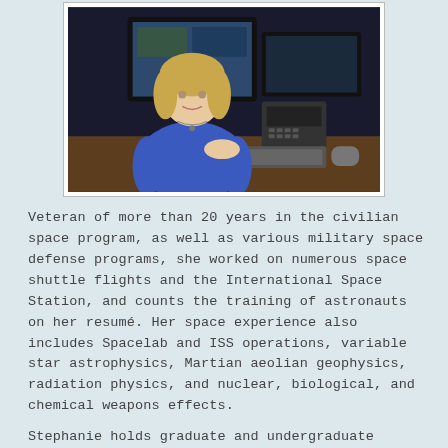[Figure (photo): A woman with blonde hair sitting at a desk in front of computer monitors and a desk phone, wearing a blue top.]
Veteran of more than 20 years in the civilian space program, as well as various military space defense programs, she worked on numerous space shuttle flights and the International Space Station, and counts the training of astronauts on her resumé. Her space experience also includes Spacelab and ISS operations, variable star astrophysics, Martian aeolian geophysics, radiation physics, and nuclear, biological, and chemical weapons effects.
Stephanie holds graduate and undergraduate degrees in